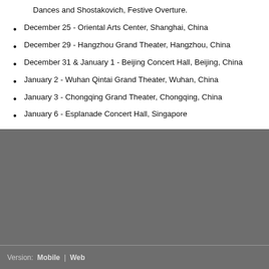Dances and Shostakovich, Festive Overture.
December 25 - Oriental Arts Center, Shanghai, China
December 29 - Hangzhou Grand Theater, Hangzhou, China
December 31 & January 1 - Beijing Concert Hall, Beijing, China
January 2 - Wuhan Qintai Grand Theater, Wuhan, China
January 3 - Chongqing Grand Theater, Chongqing, China
January 6 - Esplanade Concert Hall, Singapore
Version: Mobile | Web